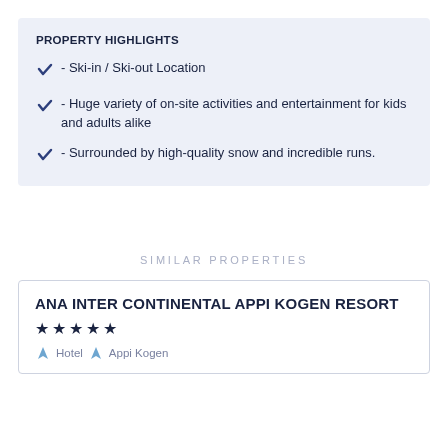PROPERTY HIGHLIGHTS
- Ski-in / Ski-out Location
- Huge variety of on-site activities and entertainment for kids and adults alike
- Surrounded by high-quality snow and incredible runs.
SIMILAR PROPERTIES
ANA INTER CONTINENTAL APPI KOGEN RESORT
★ ★ ★ ★ ★
Hotel  Appi Kogen